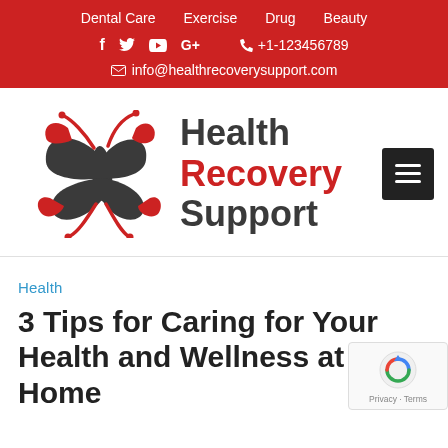Dental Care | Exercise | Drug | Beauty
f t yt G+  +1-123456789  info@healthrecoverysupport.com
[Figure (logo): Health Recovery Support logo with butterfly graphic in red and dark gray, text reads Health Recovery Support]
Health
3 Tips for Caring for Your Health and Wellness at Home